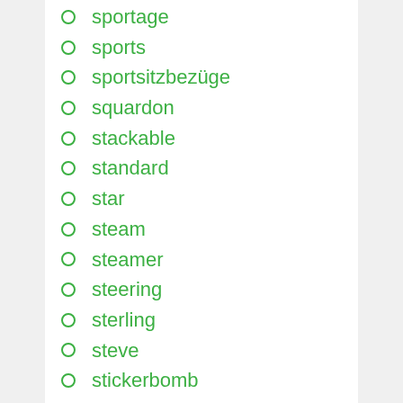sportage
sports
sportsitzbezüge
squardon
stackable
standard
star
steam
steamer
steering
sterling
steve
stickerbomb
stock
stock2021
street
stretch
stretchable